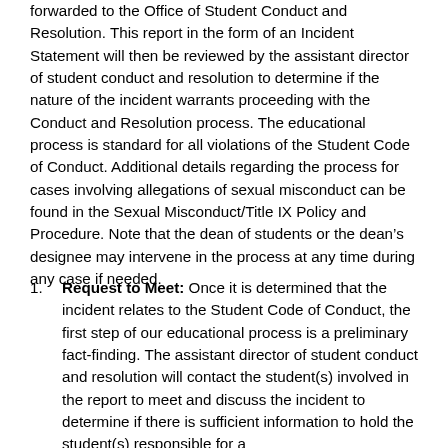forwarded to the Office of Student Conduct and Resolution. This report in the form of an Incident Statement will then be reviewed by the assistant director of student conduct and resolution to determine if the nature of the incident warrants proceeding with the Conduct and Resolution process. The educational process is standard for all violations of the Student Code of Conduct. Additional details regarding the process for cases involving allegations of sexual misconduct can be found in the Sexual Misconduct/Title IX Policy and Procedure. Note that the dean of students or the dean's designee may intervene in the process at any time during any case if needed.
Request to Meet: Once it is determined that the incident relates to the Student Code of Conduct, the first step of our educational process is a preliminary fact-finding. The assistant director of student conduct and resolution will contact the student(s) involved in the report to meet and discuss the incident to determine if there is sufficient information to hold the student(s) responsible for a